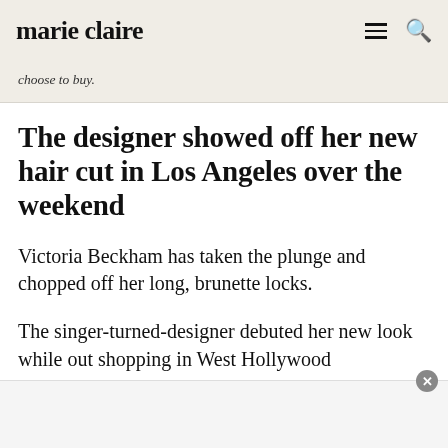marie claire
choose to buy.
The designer showed off her new hair cut in Los Angeles over the weekend
Victoria Beckham has taken the plunge and chopped off her long, brunette locks.
The singer-turned-designer debuted her new look while out shopping in West Hollywood